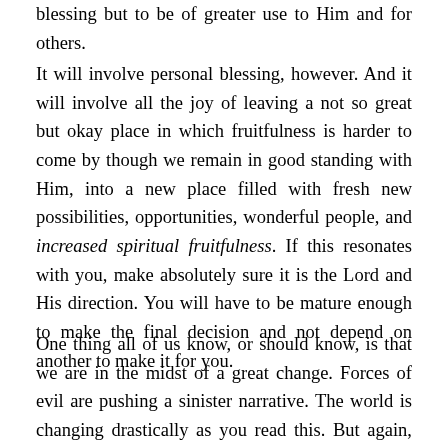blessing but to be of greater use to Him and for others.
It will involve personal blessing, however. And it will involve all the joy of leaving a not so great but okay place in which fruitfulness is harder to come by though we remain in good standing with Him, into a new place filled with fresh new possibilities, opportunities, wonderful people, and increased spiritual fruitfulness. If this resonates with you, make absolutely sure it is the Lord and His direction. You will have to be mature enough to make the final decision and not depend on another to make it for you.
One thing all of us know, or should know, is that we are in the midst of a great change. Forces of evil are pushing a sinister narrative. The world is changing drastically as you read this. But again, the Lord is not surprised. He remains